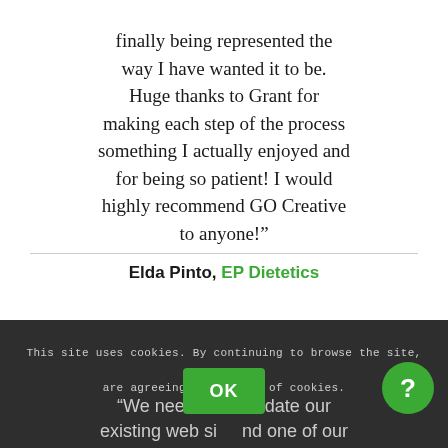finally being represented the way I have wanted it to be. Huge thanks to Grant for making each step of the process something I actually enjoyed and for being so patient! I would highly recommend GO Creative to anyone!”
Elda Pinto, EP Dietetics
This site uses cookies. By continuing to browse the site, you are agreeing to our use of cookies.
“We needed to update our existing web site and one of our